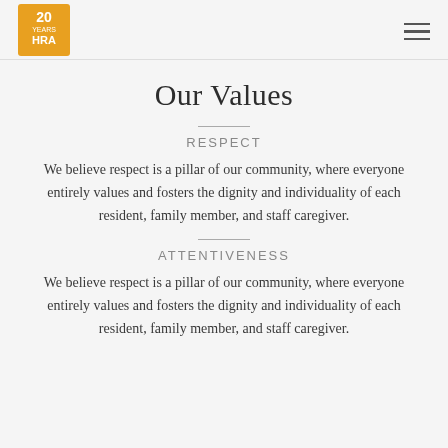20 Years HRA
Our Values
RESPECT
We believe respect is a pillar of our community, where everyone entirely values and fosters the dignity and individuality of each resident, family member, and staff caregiver.
ATTENTIVENESS
We believe respect is a pillar of our community, where everyone entirely values and fosters the dignity and individuality of each resident, family member, and staff caregiver.